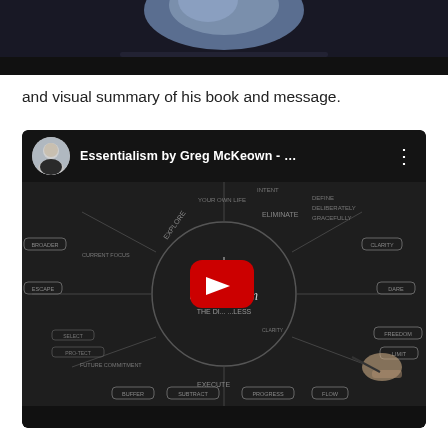[Figure (photo): Top portion of a video/presentation screenshot showing a person in dark clothing against a blue background, with a black bar at the bottom]
and visual summary of his book and message.
[Figure (screenshot): YouTube video embed showing 'Essentialism by Greg McKeown - ...' with a mind map visual in the background, a circular play button overlay, avatar of a bald man in black shirt, and three-dot menu icon]